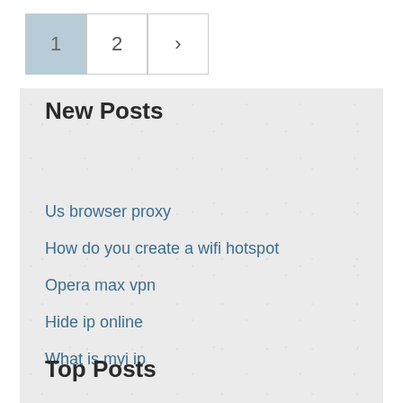1
2
>
New Posts
Us browser proxy
How do you create a wifi hotspot
Opera max vpn
Hide ip online
What is myi ip
Top Posts